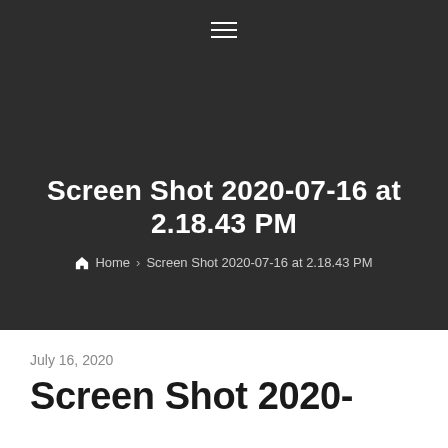☰
Screen Shot 2020-07-16 at 2.18.43 PM
🏠 Home › Screen Shot 2020-07-16 at 2.18.43 PM
July 16, 2020
Screen Shot 2020-